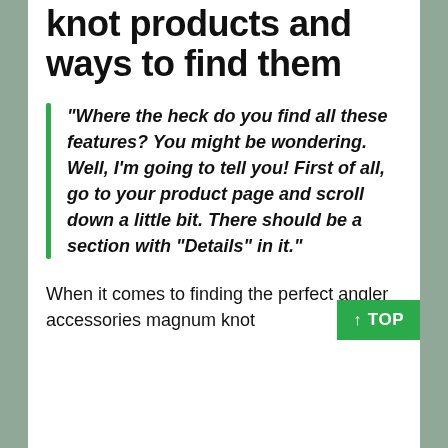knot products and ways to find them
“Where the heck do you find all these features? You might be wondering. Well, I’m going to tell you! First of all, go to your product page and scroll down a little bit. There should be a section with “Details” in it.”
When it comes to finding the perfect angler accessories magnum knot